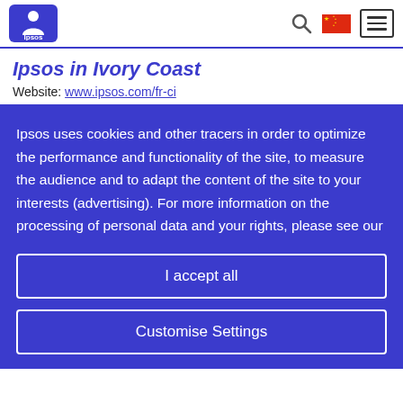[Figure (logo): Ipsos logo: white person icon and 'Ipsos' text on blue rounded rectangle background]
Ipsos in Ivory Coast
Website: www.ipsos.com/fr-ci
Ipsos uses cookies and other tracers in order to optimize the performance and functionality of the site, to measure the audience and to adapt the content of the site to your interests (advertising). For more information on the processing of personal data and your rights, please see our
I accept all
Customise Settings